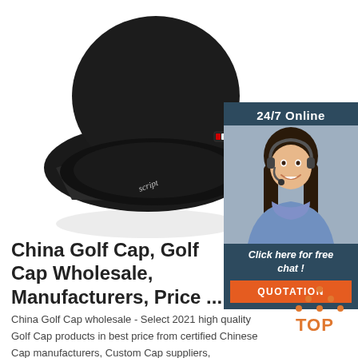[Figure (photo): Black golf/bucket cap photographed from above at an angle on white background, with a small brand label tab and white script text on the side.]
[Figure (photo): 24/7 Online chat widget showing a smiling woman with headset, a 'Click here for free chat!' message, and an orange QUOTATION button, on a dark blue-grey background.]
China Golf Cap, Golf Cap Wholesale, Manufacturers, Price ...
China Golf Cap wholesale - Select 2021 high quality Golf Cap products in best price from certified Chinese Cap manufacturers, Custom Cap suppliers, wholesalers and factory on Made-in-China.com
[Figure (logo): TOP badge logo with orange dots arranged in a triangle above the word TOP in orange text.]